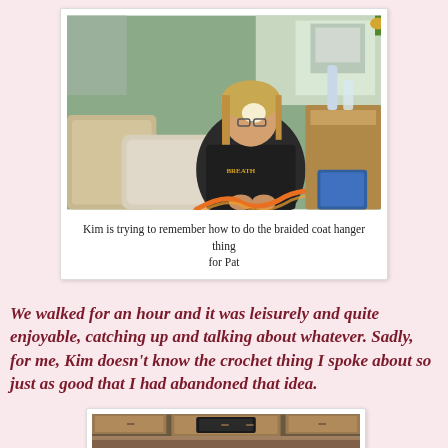[Figure (photo): Woman with glasses and dark sweatshirt sitting on a couch inside an RV, working with orange braided cord/coat hanger material. Interior of RV visible with wood furniture and windows.]
Kim is trying to remember how to do the braided coat hanger thing for Pat
We walked for an hour and it was leisurely and quite enjoyable, catching up and talking about whatever. Sadly, for me, Kim doesn't know the crochet thing I spoke about so just as good that I had abandoned that idea.
[Figure (photo): Interior of an RV showing kitchen/living area with wood cabinets, a TV, and various appliances and storage.]